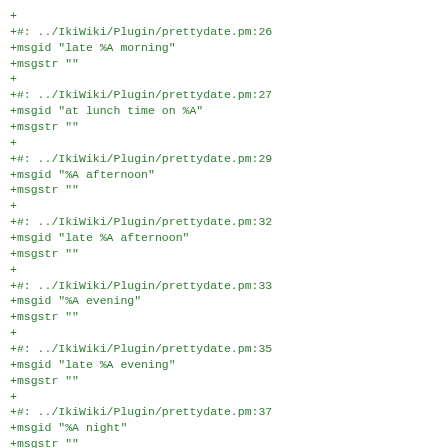+
+#: ../IkiWiki/Plugin/prettydate.pm:26
+msgid "late %A morning"
+msgstr ""
+
+#: ../IkiWiki/Plugin/prettydate.pm:27
+msgid "at lunch time on %A"
+msgstr ""
+
+#: ../IkiWiki/Plugin/prettydate.pm:29
+msgid "%A afternoon"
+msgstr ""
+
+#: ../IkiWiki/Plugin/prettydate.pm:32
+msgid "late %A afternoon"
+msgstr ""
+
+#: ../IkiWiki/Plugin/prettydate.pm:33
+msgid "%A evening"
+msgstr ""
+
+#: ../IkiWiki/Plugin/prettydate.pm:35
+msgid "late %A evening"
+msgstr ""
+
+#: ../IkiWiki/Plugin/prettydate.pm:37
+msgid "%A night"
+msgstr ""
+
+#: ../IkiWiki/Plugin/prettydate.pm:74
+msgid "at teatime on %A"
+msgstr ""